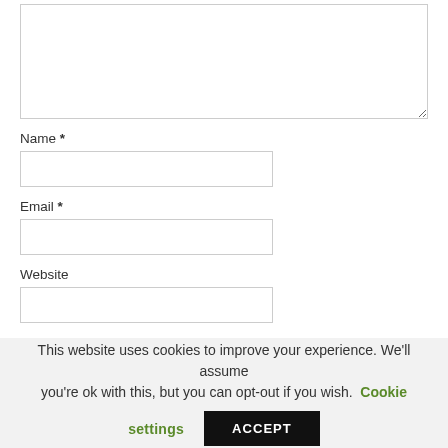[Figure (screenshot): A large empty textarea input box with a resize handle in the bottom right corner]
Name *
[Figure (screenshot): An empty text input field for Name]
Email *
[Figure (screenshot): An empty text input field for Email]
Website
[Figure (screenshot): An empty text input field for Website]
This website uses cookies to improve your experience. We'll assume you're ok with this, but you can opt-out if you wish. Cookie settings ACCEPT